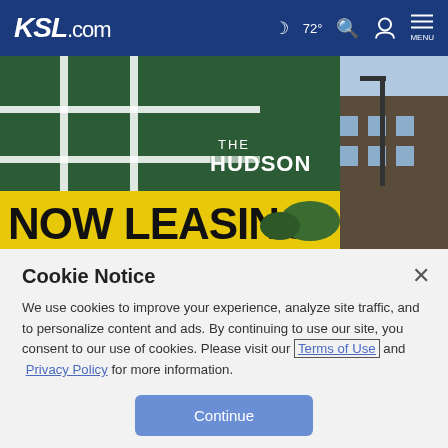KSL.com  ☽ 72°  🔍  👤  MENU
[Figure (photo): Photo of a 'NOW LEASING' sign for 'THE HUDSON' apartment complex, green and yellow billboard with apartment buildings in background]
Cookie Notice
We use cookies to improve your experience, analyze site traffic, and to personalize content and ads. By continuing to use our site, you consent to our use of cookies. Please visit our Terms of Use and  Privacy Policy for more information.
Continue